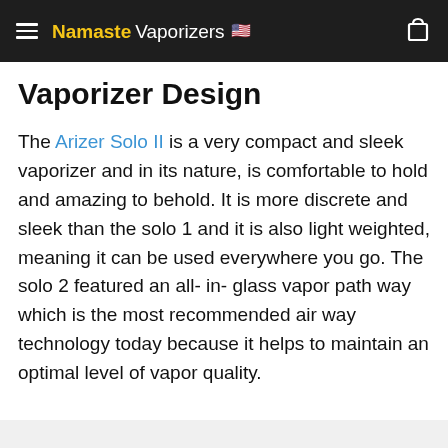Namaste Vaporizers
Vaporizer Design
The Arizer Solo II is a very compact and sleek vaporizer and in its nature, is comfortable to hold and amazing to behold. It is more discrete and sleek than the solo 1 and it is also light weighted, meaning it can be used everywhere you go. The solo 2 featured an all- in- glass vapor path way which is the most recommended air way technology today because it helps to maintain an optimal level of vapor quality.